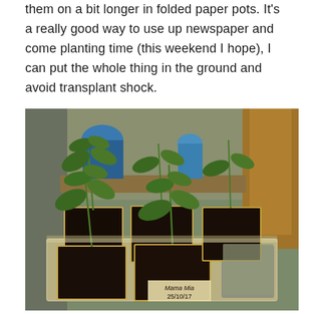them on a bit longer in folded paper pots. It's a really good way to use up newspaper and come planting time (this weekend I hope), I can put the whole thing in the ground and avoid transplant shock.
[Figure (photo): Tomato seedlings growing in folded newspaper/paper pots arranged in a metal tray. One pot is labeled 'Mama Mia 25/10/17'. Background shows a greenhouse or shed setting with gardening supplies.]